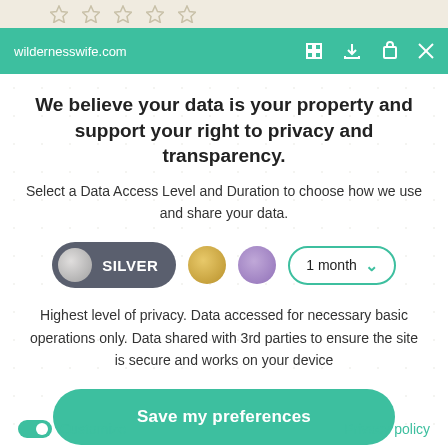[Figure (screenshot): Browser top bar with stars rating UI partially visible]
wildernesswife.com
We believe your data is your property and support your right to privacy and transparency.
Select a Data Access Level and Duration to choose how we use and share your data.
[Figure (infographic): Privacy level selector with SILVER pill button selected (dark grey), gold circle, purple circle, and 1 month dropdown]
Highest level of privacy. Data accessed for necessary basic operations only. Data shared with 3rd parties to ensure the site is secure and works on your device
[Figure (infographic): Save my preferences button (teal rounded pill)]
Customize
Privacy policy